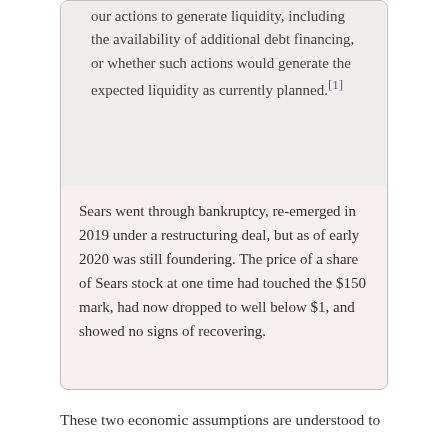our actions to generate liquidity, including the availability of additional debt financing, or whether such actions would generate the expected liquidity as currently planned.[1]
Sears went through bankruptcy, re-emerged in 2019 under a restructuring deal, but as of early 2020 was still foundering. The price of a share of Sears stock at one time had touched the $150 mark, had now dropped to well below $1, and showed no signs of recovering.
These two economic assumptions are understood to